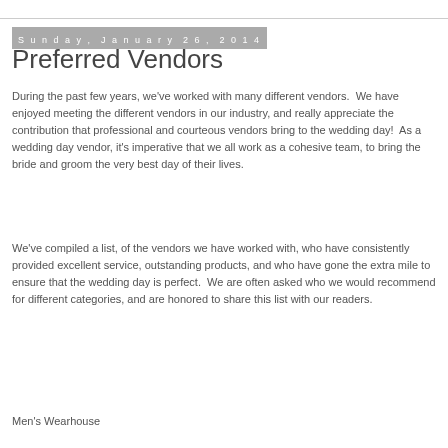Sunday, January 26, 2014
Preferred Vendors
During the past few years, we've worked with many different vendors.  We have enjoyed meeting the different vendors in our industry, and really appreciate the contribution that professional and courteous vendors bring to the wedding day!  As a wedding day vendor, it's imperative that we all work as a cohesive team, to bring the bride and groom the very best day of their lives.
We've compiled a list, of the vendors we have worked with, who have consistently provided excellent service, outstanding products, and who have gone the extra mile to ensure that the wedding day is perfect.  We are often asked who we would recommend for different categories, and are honored to share this list with our readers.
Men's Wearhouse